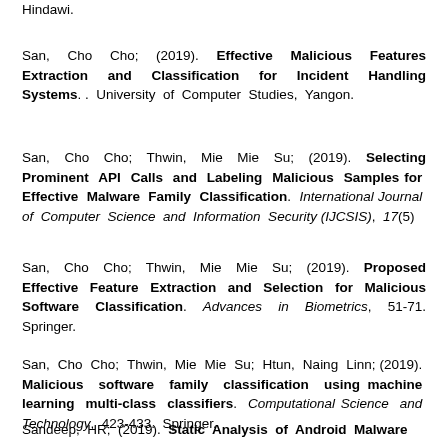Hindawi.
San, Cho Cho; (2019). Effective Malicious Features Extraction and Classification for Incident Handling Systems. . University of Computer Studies, Yangon.
San, Cho Cho; Thwin, Mie Mie Su; (2019). Selecting Prominent API Calls and Labeling Malicious Samples for Effective Malware Family Classification. International Journal of Computer Science and Information Security (IJCSIS), 17(5)
San, Cho Cho; Thwin, Mie Mie Su; (2019). Proposed Effective Feature Extraction and Selection for Malicious Software Classification. Advances in Biometrics, 51-71. Springer.
San, Cho Cho; Thwin, Mie Mie Su; Htun, Naing Linn; (2019). Malicious software family classification using machine learning multi-class classifiers. Computational Science and Technology, 423-433. Springer.
Sandeep, HR; (2019). Static Analysis of Android Malware